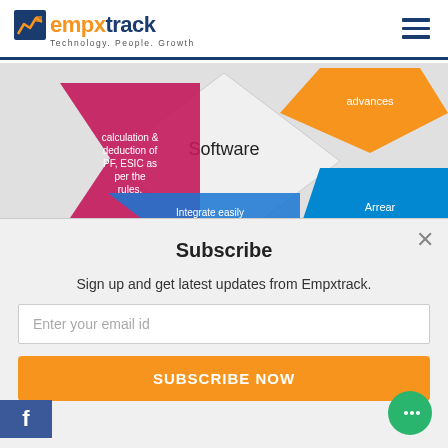empxtrack — Technology. People. Growth
[Figure (infographic): Payroll software feature infographic with colored diamond/arrow shapes showing: calculation & deduction of PF, ESIC as per the rules; Software (center); advances (top right); Integrate easily with statutory portals, leave and attendance; Arrear calculation]
Subscribe
Sign up and get latest updates from Empxtrack.
Enter your email id
SUBSCRIBE NOW